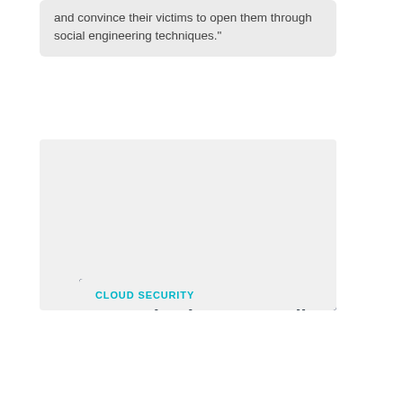and convince their victims to open them through social engineering techniques."
[Figure (photo): Digital illustration of a glowing blue cloud with a padlock icon, surrounded by a globe/network mesh, set against a dark blue background with digital wave/particle effects.]
CLOUD SECURITY
Organisations struggling to secure new cloud environments
“In the wake of COVID-19, organisations substantially accelerated their digital